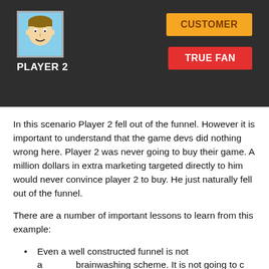[Figure (infographic): Dark panel showing Player 2 avatar (cartoon face on light blue background), PLAYER 2 label in white, orange CUSTOMER button, and red TRUE FAN button on dark background]
In this scenario Player 2 fell out of the funnel. However it is important to understand that the game devs did nothing wrong here. Player 2 was never going to buy their game. A million dollars in extra marketing targeted directly to him would never convince player 2 to buy. He just naturally fell out of the funnel.
There are a number of important lessons to learn from this example:
Even a well constructed funnel is not a brainwashing scheme. It is not going to c 100% of people. You still have to make a good